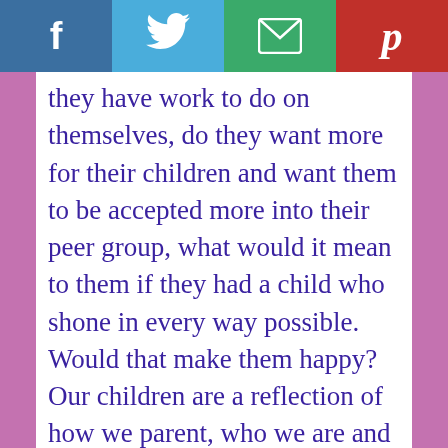[Figure (other): Social sharing bar with four buttons: Facebook (blue, f icon), Twitter (light blue, bird icon), Email (green, envelope icon), Pinterest (red, P icon)]
they have work to do on themselves, do they want more for their children and want them to be accepted more into their peer group, what would it mean to them if they had a child who shone in every way possible. Would that make them happy? Our children are a reflection of how we parent, who we are and our values. Have we failed if they are not everything we wanted them to be?

I am going to leave this blog post